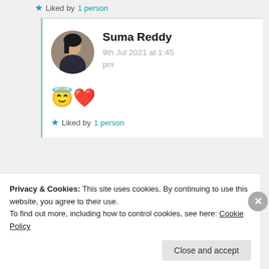★ Liked by 1 person
Suma Reddy
9th Jul 2021 at 1:45 pm
😇❤️
★ Liked by 1 person
Privacy & Cookies: This site uses cookies. By continuing to use this website, you agree to their use.
To find out more, including how to control cookies, see here: Cookie Policy
Close and accept